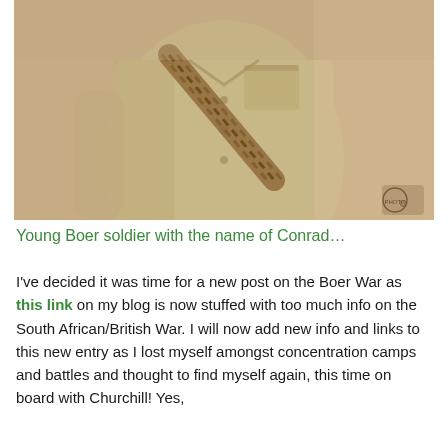[Figure (photo): Sepia-toned photograph of a young Boer soldier in a khaki uniform with a diagonal strap/bandolier across the chest. The image is cropped to show the torso and partial head. A small photographer's stamp or logo appears in the lower right corner.]
Young Boer soldier with the name of Conrad…
I've decided it was time for a new post on the Boer War as this link on my blog is now stuffed with too much info on the South African/British War. I will now add new info and links to this new entry as I lost myself amongst concentration camps and battles and thought to find myself again, this time on board with Churchill! Yes,